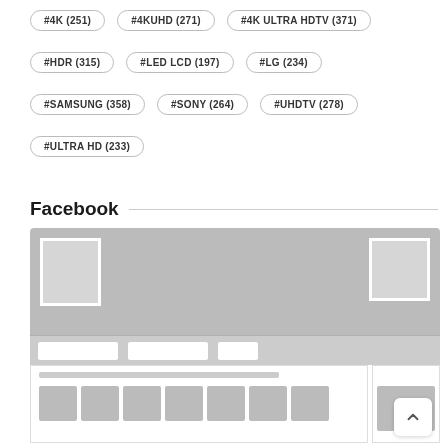#4K (251)
#4KUHD (271)
#4K ULTRA HDTV (371)
#HDR (315)
#LED LCD (197)
#LG (234)
#SAMSUNG (358)
#SONY (264)
#UHDTV (278)
#ULTRA HD (233)
Facebook
[Figure (screenshot): Facebook page mockup/placeholder showing a gray banner with avatar squares, button placeholders, and a lower content area with thumbnail placeholders and a scroll-to-top button.]